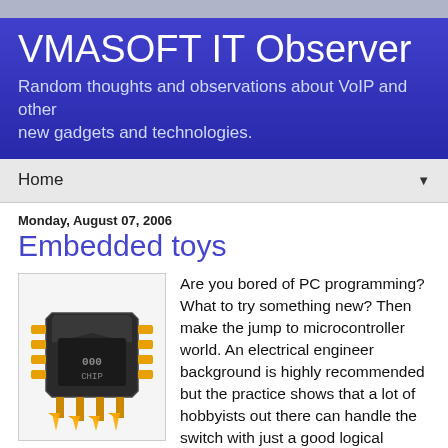VMASOFT IT Observer
Random thoughts and observations about VoIP and other new gadgets and technologies.
Home
Monday, August 07, 2006
Embedded toys
[Figure (illustration): Microchip/microcontroller icon with gold pins]
Are you bored of PC programming? What to try something new? Then make the jump to microcontroller world. An electrical engineer background is highly recommended but the practice shows that a lot of hobbyists out there can handle the switch with just a good logical understanding and basic programming knowledge.